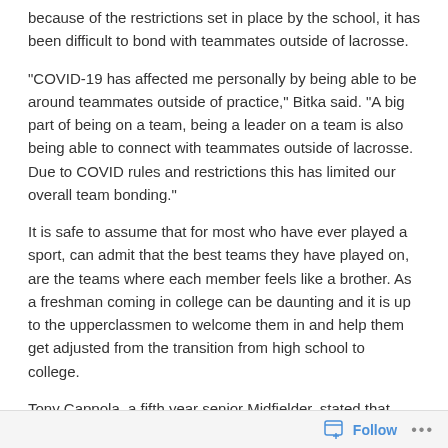because of the restrictions set in place by the school, it has been difficult to bond with teammates outside of lacrosse.
“COVID-19 has affected me personally by being able to be around teammates outside of practice,” Bitka said. “A big part of being on a team, being a leader on a team is also being able to connect with teammates outside of lacrosse. Due to COVID rules and restrictions this has limited our overall team bonding.”
It is safe to assume that for most who have ever played a sport, can admit that the best teams they have played on, are the teams where each member feels like a brother. As a freshman coming in college can be daunting and it is up to the upperclassmen to welcome them in and help them get adjusted from the transition from high school to college.
Tony Cappola, a fifth year senior Midfielder, stated that because of COVID-19, practices have changed drastically over the past couple months. In the beginning of the season, the team was allowed to hold practices with groups of ten players or less. Then with the introduction of three tests a week, practices have gone to what they normally were. Tony also states that when practices were held in groups of ten or less,
Follow ···